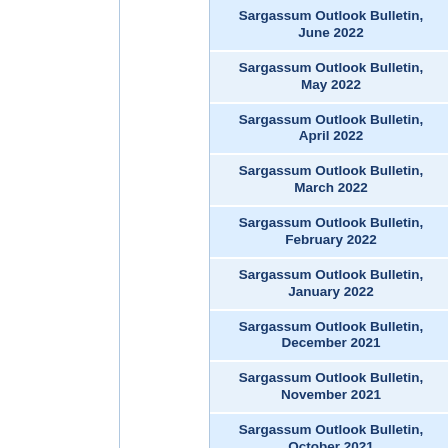Sargassum Outlook Bulletin, June 2022
Sargassum Outlook Bulletin, May 2022
Sargassum Outlook Bulletin, April 2022
Sargassum Outlook Bulletin, March 2022
Sargassum Outlook Bulletin, February 2022
Sargassum Outlook Bulletin, January 2022
Sargassum Outlook Bulletin, December 2021
Sargassum Outlook Bulletin, November 2021
Sargassum Outlook Bulletin, October 2021